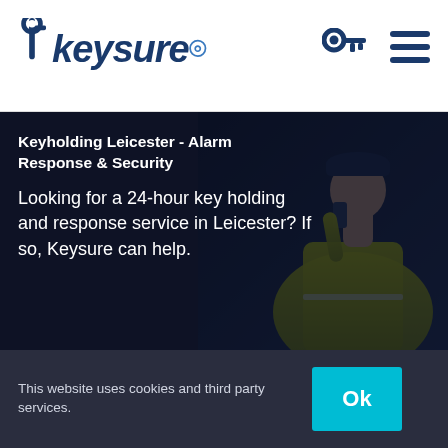[Figure (logo): Keysure logo with key icon and wifi signal arcs, dark navy blue coloring]
Keyholding Leicester - Alarm Response & Security
Looking for a 24-hour key holding and response service in Leicester? If so, Keysure can help.
This website uses cookies and third party services.